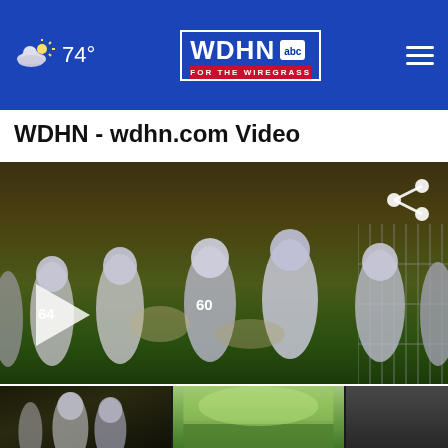WDHN abc FOR THE WIREGRASS | 74°
WDHN - wdhn.com Video
[Figure (screenshot): Football game video player showing players in white jerseys (numbers 64, 60) playing a night game. A play button (triangle) is visible on the left side. A share icon is in the top-right corner.]
[Figure (screenshot): Three video thumbnails at the bottom: first shows football players, second shows an outdoor/green scene, third is partially cut off.]